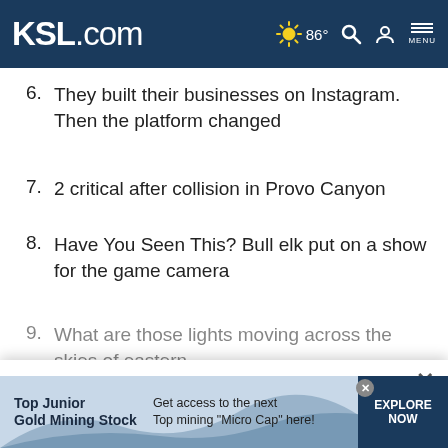KSL.com — 86° weather, search, account, menu
6. They built their businesses on Instagram. Then the platform changed
7. 2 critical after collision in Provo Canyon
8. Have You Seen This? Bull elk put on a show for the game camera
9. What are those lights moving across the skies of eastern
Cookie Notice
We use cookies to improve your experience, analyze site traffic, and to personalize content and ads. By continuing to use our site, you consent to our use of cookies. Please visit our Terms of Use and  Privacy Policy for more information
Top Junior Gold Mining Stock — Get access to the next Top mining "Micro Cap" here! — EXPLORE NOW